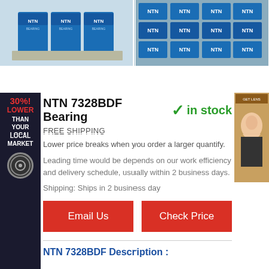[Figure (photo): Two product photos of NTN bearing boxes stacked together]
[Figure (infographic): Side banner: 30% LOWER THAN YOUR LOCAL MARKET with bearing icon]
[Figure (photo): Right side advertisement with a person image]
NTN 7328BDF Bearing
in stock
FREE SHIPPING
Lower price breaks when you order a larger quantify.
Leading time would be depends on our work efficiency and delivery schedule, usually within 2 business days.
Shipping: Ships in 2 business day
Email Us
Check Price
NTN 7328BDF Description :